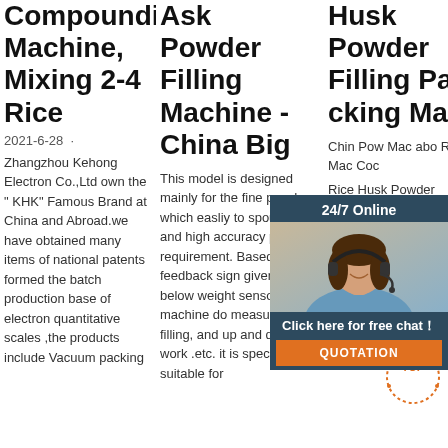Compounding Machine, Mixing 2-4 Rice
2021-6-28 ·
Zhangzhou Kehong Electron Co.,Ltd own the " KHK" Famous Brand at China and Abroad.we have obtained many items of national patents formed the batch production base of electron quantitative scales ,the products include Vacuum packing
Ask Powder Filling Machine - China Big
This model is designed mainly for the fine powder which easliy to spout dust and high accuracy packing requirement. Based on the feedback sign given by below weight sensor , This machine do measuring,two filling, and up and down work .etc. it is specially suitable for
Husk Powder Filling Packing Ma
Chin Pow Mac abo Rice Mac Coc
Rice Husk Powder Filling Packing Machine - Shanghai Dahe Packaging Machinery Co., Ltd.
[Figure (photo): Customer service representative woman with headset, chat widget with '24/7 Online' header, 'Click here for free chat!' text, and orange QUOTATION button]
[Figure (logo): TOP badge/watermark in orange and dark colors]